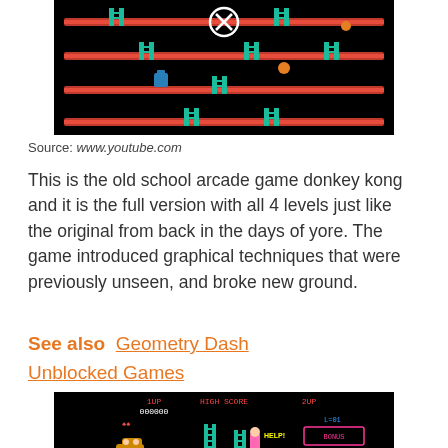[Figure (screenshot): Donkey Kong arcade game screenshot showing red platforms, ladders, and game characters on black background with a circled X symbol visible]
Source: www.youtube.com
This is the old school arcade game donkey kong and it is the full version with all 4 levels just like the original from back in the days of yore. The game introduced graphical techniques that were previously unseen, and broke new ground.
See also  Geometry Dash Unblocked Games
[Figure (screenshot): Donkey Kong arcade game title screen showing score displays (1UP 000000, HIGH SCORE, 2UP), characters including Donkey Kong and Pauline with HELP text, bonus display, ladders, barrels, and circled X symbol on black background]